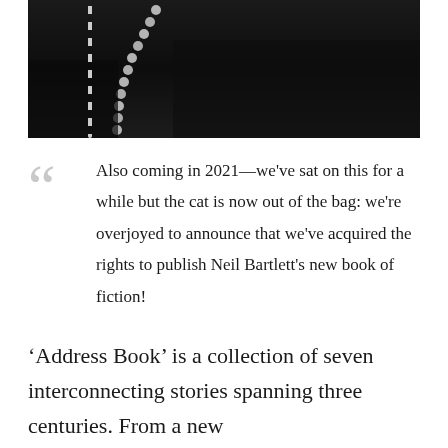[Figure (photo): Black and white photo showing a person wearing a pearl necklace against a dark background, cropped to show lower face/neck/chest area]
Also coming in 2021—we've sat on this for a while but the cat is now out of the bag: we're overjoyed to announce that we've acquired the rights to publish Neil Bartlett's new book of fiction!
‘Address Book’ is a collection of seven interconnecting stories spanning three centuries. From a new